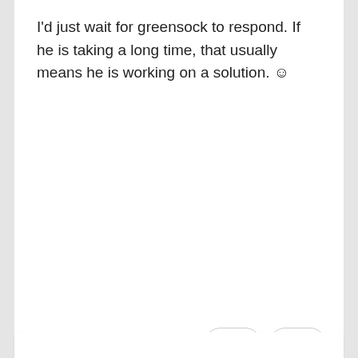I'd just wait for greensock to respond. If he is taking a long time, that usually means he is working on a solution. 🙂
[Figure (other): Reaction buttons: heart with count 1, laughing emoji with count 2]
Karliky  +11 Likes (Newbie)  21 posts
Any comments on this? @GreenSock 😄